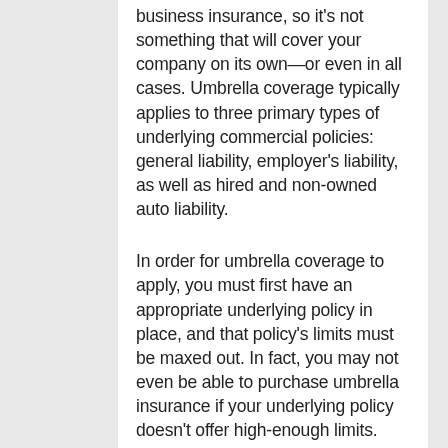business insurance, so it's not something that will cover your company on its own—or even in all cases. Umbrella coverage typically applies to three primary types of underlying commercial policies: general liability, employer's liability, as well as hired and non-owned auto liability.
In order for umbrella coverage to apply, you must first have an appropriate underlying policy in place, and that policy's limits must be maxed out. In fact, you may not even be able to purchase umbrella insurance if your underlying policy doesn't offer high-enough limits.